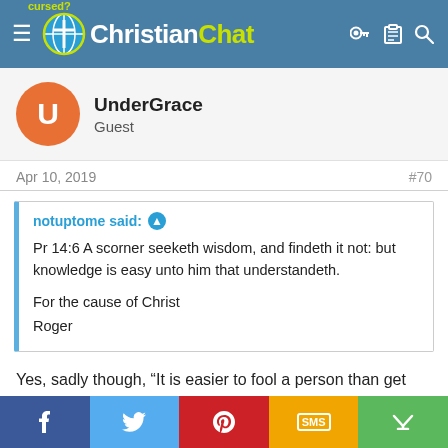Christian Chat
UnderGrace
Guest
Apr 10, 2019  #70
notuptome said:
Pr 14:6 A scorner seeketh wisdom, and findeth it not: but knowledge is easy unto him that understandeth.

For the cause of Christ
Roger
Yes, sadly though, “It is easier to fool a person than get them to believe they have been fooled.”
Share bar: Facebook, Twitter, Pinterest, SMS, Share